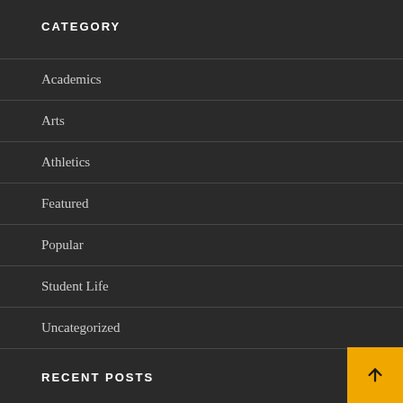CATEGORY
Academics
Arts
Athletics
Featured
Popular
Student Life
Uncategorized
RECENT POSTS